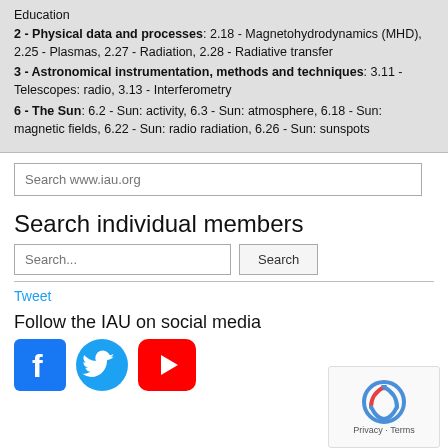Education
2 - Physical data and processes: 2.18 - Magnetohydrodynamics (MHD), 2.25 - Plasmas, 2.27 - Radiation, 2.28 - Radiative transfer
3 - Astronomical instrumentation, methods and techniques: 3.11 - Telescopes: radio, 3.13 - Interferometry
6 - The Sun: 6.2 - Sun: activity, 6.3 - Sun: atmosphere, 6.18 - Sun: magnetic fields, 6.22 - Sun: radio radiation, 6.26 - Sun: sunspots
Search www.iau.org
Search individual members
Search...
Tweet
Follow the IAU on social media
[Figure (logo): Facebook, Twitter, and YouTube social media icons]
[Figure (other): reCAPTCHA widget with Privacy and Terms links]